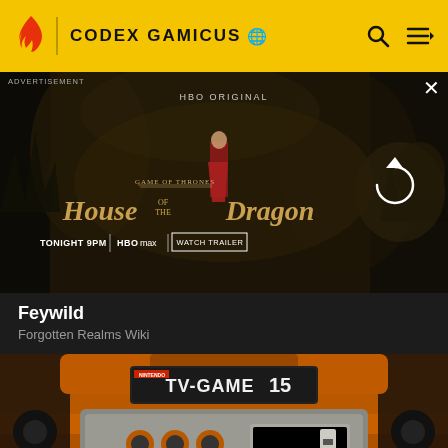CODEX GAMICUS
[Figure (screenshot): HBO Original advertisement for House of the Dragon - Game of Thrones prequel. Shows a woman in red dress in a dark cave setting. Text reads: GAME OF THRONES, HOUSE OF THE DRAGON, TONIGHT 9PM, HBOMAX, WATCH TRAILER. Reload icon visible on right side.]
Feywild
Forgotten Realms Wiki
[Figure (photo): Close-up photo of a Nintendo TV-GAME 15 console in orange color, showing control dials and buttons on the console panel.]